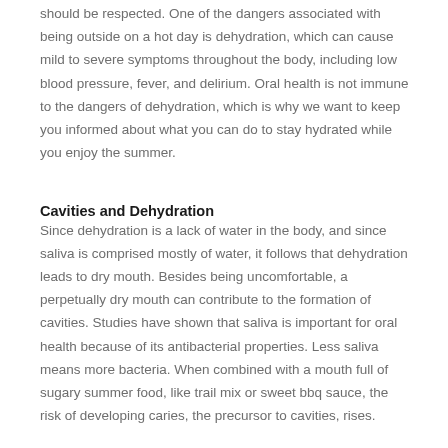should be respected. One of the dangers associated with being outside on a hot day is dehydration, which can cause mild to severe symptoms throughout the body, including low blood pressure, fever, and delirium. Oral health is not immune to the dangers of dehydration, which is why we want to keep you informed about what you can do to stay hydrated while you enjoy the summer.
Cavities and Dehydration
Since dehydration is a lack of water in the body, and since saliva is comprised mostly of water, it follows that dehydration leads to dry mouth. Besides being uncomfortable, a perpetually dry mouth can contribute to the formation of cavities. Studies have shown that saliva is important for oral health because of its antibacterial properties. Less saliva means more bacteria. When combined with a mouth full of sugary summer food, like trail mix or sweet bbq sauce, the risk of developing caries, the precursor to cavities, rises.